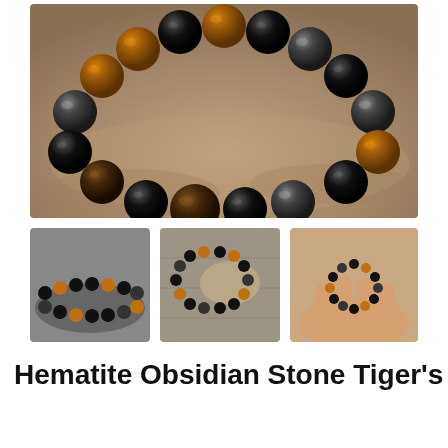[Figure (photo): Close-up product photo of a beaded bracelet made with black obsidian, dark hematite, and tiger's eye brown beads, resting on a sandy stone surface]
[Figure (photo): Small thumbnail of the bracelet lying flat showing the mix of black and brown tiger-eye beads]
[Figure (photo): Small thumbnail of the bracelet propped on a wooden surface showing the circular shape with black and amber beads]
[Figure (photo): Small thumbnail of a hand holding the bracelet in a heart/oval shape showing the bead pattern]
Hematite Obsidian Stone Tiger's